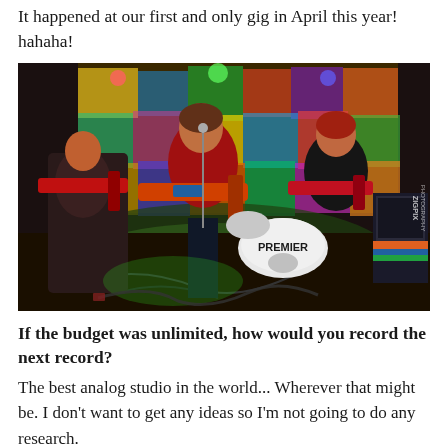It happened at our first and only gig in April this year! hahaha!
[Figure (photo): Band performing live on stage: three musicians with electric guitars, colorful graffiti backdrop, Premier drum kit visible in the background, green and red stage lighting. ZIGPIX photography watermark in bottom right corner.]
If the budget was unlimited, how would you record the next record?
The best analog studio in the world... Wherever that might be. I don't want to get any ideas so I'm not going to do any research.